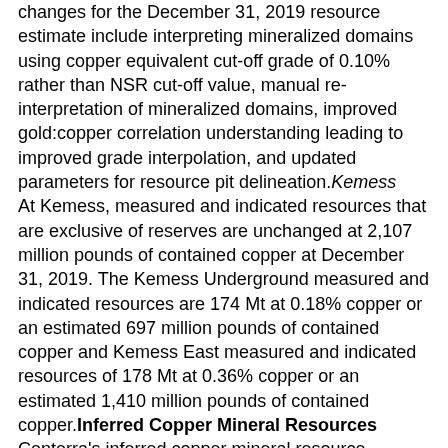changes for the December 31, 2019 resource estimate include interpreting mineralized domains using copper equivalent cut-off grade of 0.10% rather than NSR cut-off value, manual re-interpretation of mineralized domains, improved gold:copper correlation understanding leading to improved grade interpolation, and updated parameters for resource pit delineation.Kemess At Kemess, measured and indicated resources that are exclusive of reserves are unchanged at 2,107 million pounds of contained copper at December 31, 2019. The Kemess Underground measured and indicated resources are 174 Mt at 0.18% copper or an estimated 697 million pounds of contained copper and Kemess East measured and indicated resources of 178 Mt at 0.36% copper or an estimated 1,410 million pounds of contained copper.Inferred Copper Mineral Resources Centerra's inferred copper mineral resource estimate